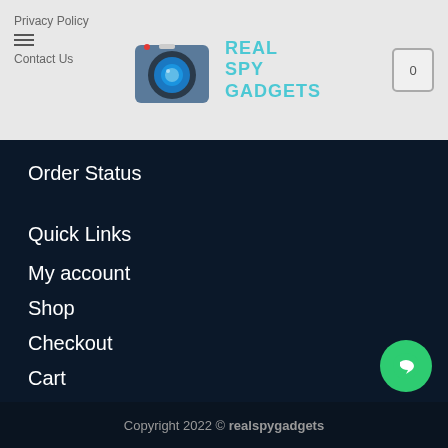Privacy Policy | (hamburger menu) | REAL SPY GADGETS | Contact Us | 0 (cart)
Order Status
Quick Links
My account
Shop
Checkout
Cart
Copyright 2022 © realspygadgets